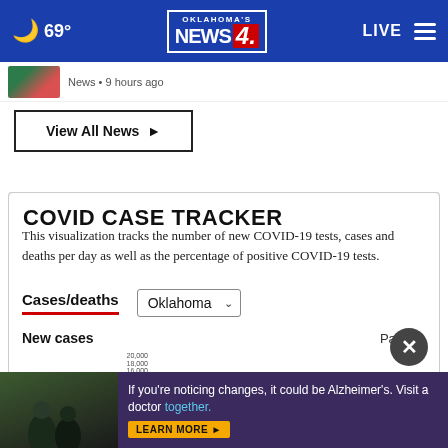69° Oklahoma's News 4 — LIVE
News • 9 hours ago
View All News ▸
COVID CASE TRACKER
This visualization tracks the number of new COVID-19 tests, cases and deaths per day as well as the percentage of positive COVID-19 tests.
Cases/deaths
Oklahoma
New cases
Past 14
[Figure (screenshot): Partial COVID case tracker chart for Oklahoma showing y-axis labels including 20,000 range values]
If you're noticing changes, it could be Alzheimer's. Visit a doctor together. LEARN MORE ▸